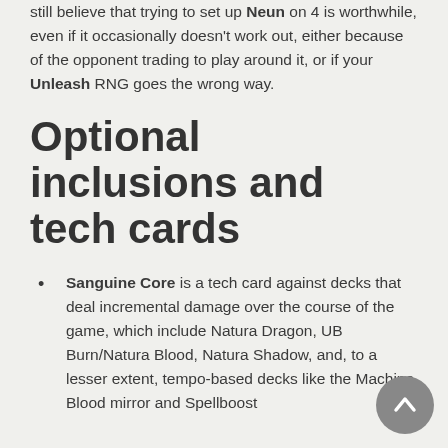still believe that trying to set up Neun on 4 is worthwhile, even if it occasionally doesn't work out, either because of the opponent trading to play around it, or if your Unleash RNG goes the wrong way.
Optional inclusions and tech cards
Sanguine Core is a tech card against decks that deal incremental damage over the course of the game, which include Natura Dragon, UB Burn/Natura Blood, Natura Shadow, and, to a lesser extent, tempo-based decks like the Machine Blood mirror and Spellboost...